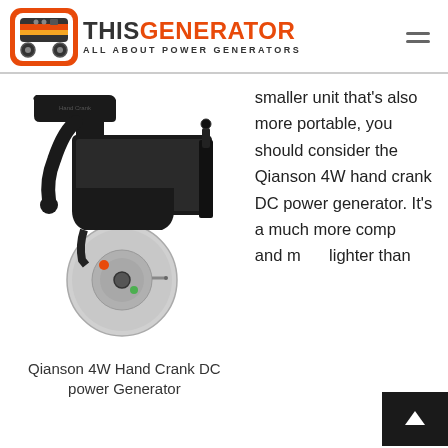THIS GENERATOR — ALL ABOUT POWER GENERATORS
[Figure (photo): Qianson 4W Hand Crank DC power generator device with a black plastic crank arm attached to a cylindrical silver motor/generator unit mounted on a black housing]
Qianson 4W Hand Crank DC power Generator
smaller unit that's also more portable, you should consider the Qianson 4W hand crank DC power generator. It's a much more comp... and m... lighter than